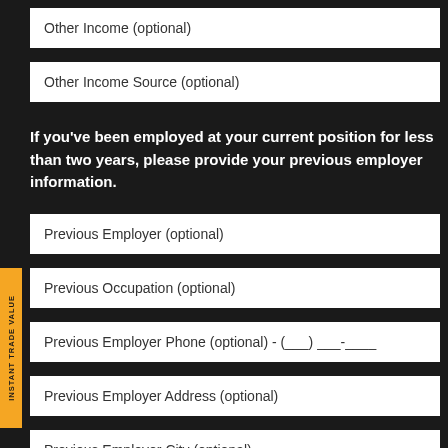Other Income (optional)
Other Income Source (optional)
If you've been employed at your current position for less than two years, please provide your previous employer information.
Previous Employer (optional)
Previous Occupation (optional)
Previous Employer Phone (optional) - (___) ___-____
Previous Employer Address (optional)
Previous Employer City (optional)
Previous Employer Zip Code (optional)